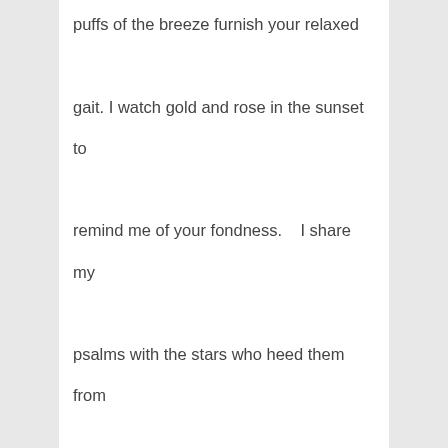puffs of the breeze furnish your relaxed

gait. I watch gold and rose in the sunset to

remind me of your fondness.   I share my

psalms with the stars who heed them from

their silvery veils. I receive sorrows from

tomorrow when I do not sail in the sea of

the self where you are my mate always

eager to hear me dwelling in detail.
Stephen Gill says that even when the protagonist or suitor fantasizes the beauty and gentle quality of his sweetheart she is not afar or in the dream world but found quite around him in the natural world. Her refreshing face is mirrored on the greenery. It is found when deer is frisking down in a dale. At other times her